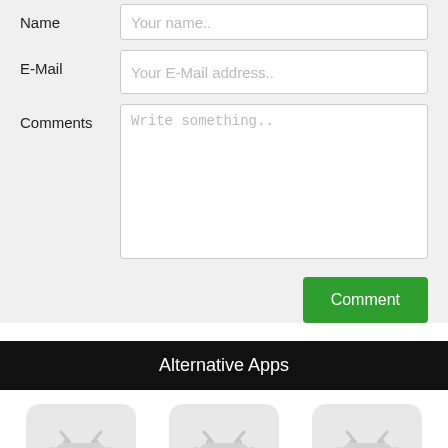Name
Your name..
E-Mail
Your E-Mail address..
Comments
Write something..
Comment
Alternative Apps
Instagram Dark Mode
TikTok Lite
Hawk Eye